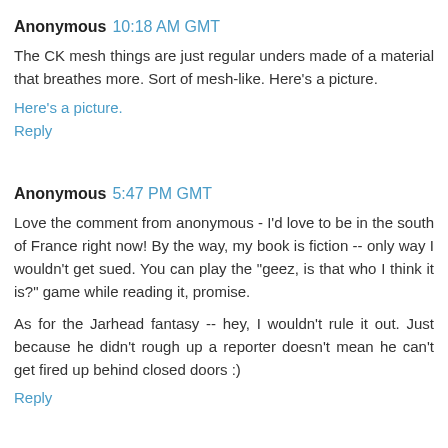Anonymous 10:18 AM GMT
The CK mesh things are just regular unders made of a material that breathes more. Sort of mesh-like. Here's a picture.
Here's a picture.
Reply
Anonymous 5:47 PM GMT
Love the comment from anonymous - I'd love to be in the south of France right now! By the way, my book is fiction -- only way I wouldn't get sued. You can play the "geez, is that who I think it is?" game while reading it, promise.
As for the Jarhead fantasy -- hey, I wouldn't rule it out. Just because he didn't rough up a reporter doesn't mean he can't get fired up behind closed doors :)
Reply